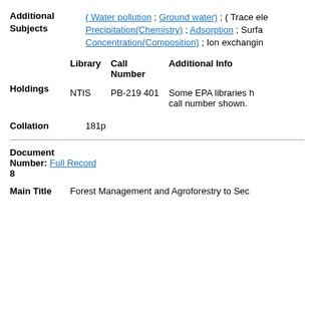Additional Subjects: ( Water pollution ; Ground water) ; ( Trace elements ; Precipitation(Chemistry) ; Adsorption ; Surface... Concentration(Composition) ; Ion exchanging...
| Library | Call Number | Additional Info |
| --- | --- | --- |
| NTIS | PB-219 401 | Some EPA libraries h... call number shown. |
Holdings
Collation  181p
Document Number: Full Record
8
Main Title  Forest Management and Agroforestry to Sec...